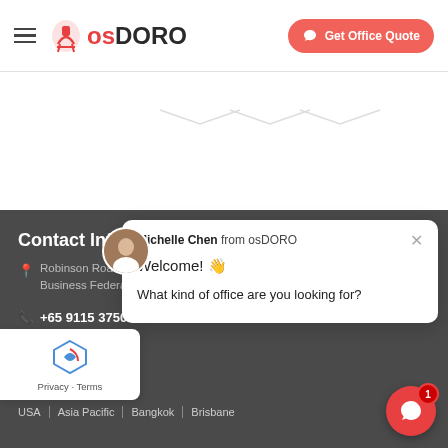[Figure (logo): osDORO logo with red chair icon and text osDORO]
[Figure (screenshot): Get Office Quote button in red/coral rounded pill shape]
Contact Info
Robinson Road # ... Business Federa...
+65 9115 3750
[Figure (other): Social media icons: Facebook, Instagram, LinkedIn]
...offices In
USA | Asia Pacific | Bangkok | Brisbane
[Figure (screenshot): Chat popup from Michelle Chen from osDORO: Welcome! 👋 What kind of office are you looking for?]
[Figure (other): reCAPTCHA privacy badge with Privacy - Terms text]
[Figure (other): Red chat bubble button with notification badge showing 1]